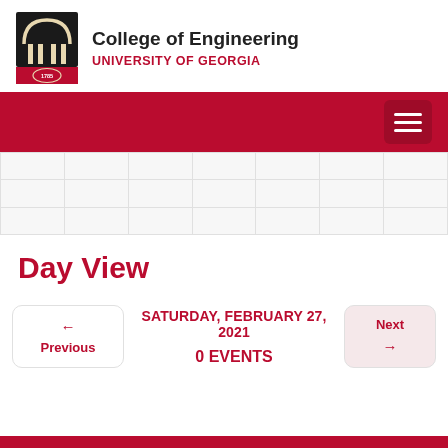[Figure (logo): University of Georgia College of Engineering logo with arch and 1785 seal]
College of Engineering UNIVERSITY OF GEORGIA
[Figure (other): Red navigation bar with hamburger menu button]
[Figure (other): Calendar grid background with light gray cells]
Day View
← Previous   SATURDAY, FEBRUARY 27, 2021   Next →
0 EVENTS